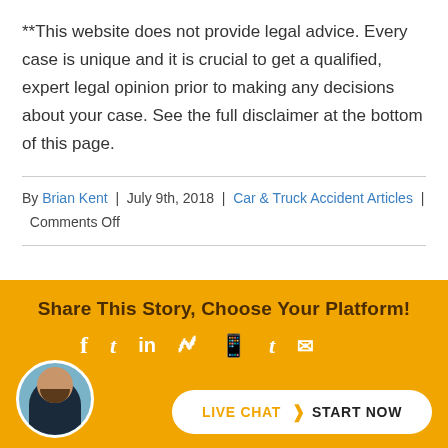**This website does not provide legal advice. Every case is unique and it is crucial to get a qualified, expert legal opinion prior to making any decisions about your case. See the full disclaimer at the bottom of this page.
By Brian Kent | July 9th, 2018 | Car & Truck Accident Articles | Comments Off
Share This Story, Choose Your Platform!
[Figure (infographic): Social sharing icons: Facebook, Twitter, LinkedIn, Reddit, WhatsApp, Tumblr, Email]